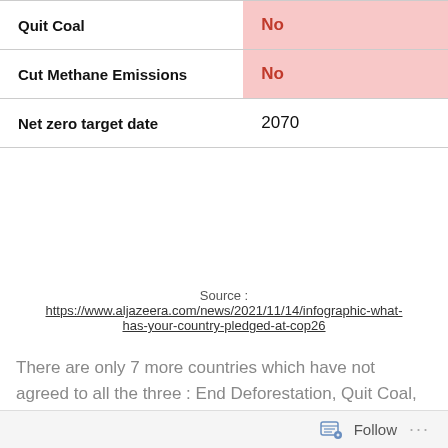|  |  |
| --- | --- |
| Quit Coal | No |
| Cut Methane Emissions | No |
| Net zero target date | 2070 |
Source : https://www.aljazeera.com/news/2021/11/14/infographic-what-has-your-country-pledged-at-cop26
There are only 7 more countries which have not agreed to all the three : End Deforestation, Quit Coal, Cut Methane Emissions and not set a net zero target date. These are the countries : Cook Islands, Dominica, Iran, North Korea, Oman, Qatar, Tajikistan, Venezuela. Do
Follow ···